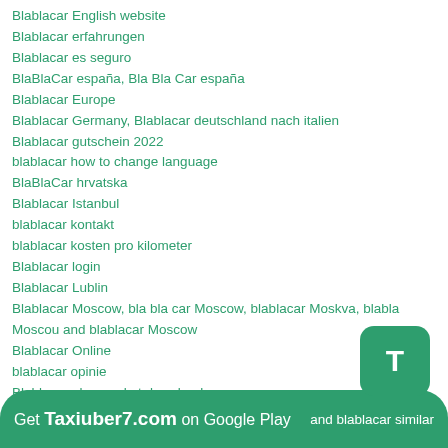Blablacar English website
Blablacar erfahrungen
Blablacar es seguro
BlaBlaCar españa, Bla Bla Car españa
Blablacar Europe
Blablacar Germany, Blablacar deutschland nach italien
Blablacar gutschein 2022
blablacar how to change language
BlaBlaCar hrvatska
Blablacar Istanbul
blablacar kontakt
blablacar kosten pro kilometer
Blablacar login
Blablacar Lublin
Blablacar Moscow, bla bla car Moscow, blablacar Moskva, blabla Moscou and blablacar Moscow
Blablacar Online
blablacar opinie
Blablacar play market download
Blablacar querétaro, blablacar queretaro
Blablacar refund
Blablacar review
blablacar russia
Get Taxiuber7.com on Google Play and blablacar similar services